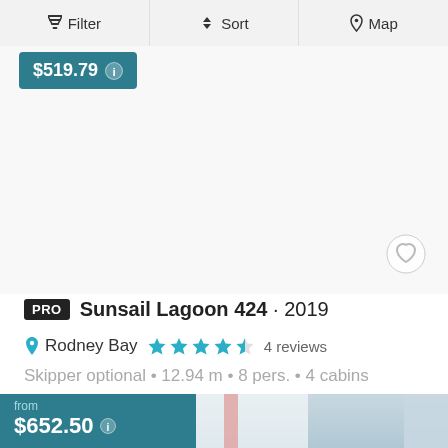Filter  Sort  Map
[Figure (screenshot): Previous listing card partially visible: teal price badge showing $519.79 with info icon, blank white image area with a heart/favorite icon (white with gray outline) in the bottom-right corner.]
PRO  Sunsail Lagoon 424 · 2019
Rodney Bay  ★★★★☆  4 reviews
Skipper optional • 12.94 m • 8 pers. • 4 cabins
[Figure (photo): Bottom of page: start of next listing card showing a sailboat with red stripe on white sail, sky background, partially visible. Teal price badge overlaid on left showing 'from $652.50' with info icon.]